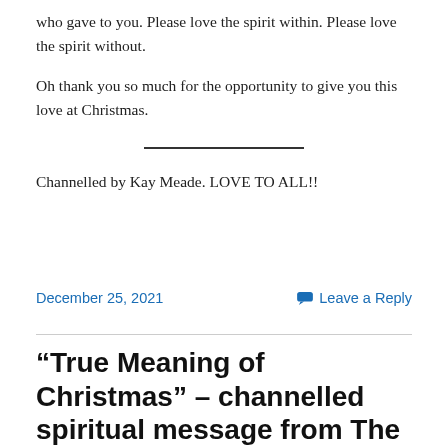who gave to you. Please love the spirit within. Please love the spirit without.
Oh thank you so much for the opportunity to give you this love at Christmas.
Channelled by Kay Meade. LOVE TO ALL!!
December 25, 2021
Leave a Reply
“True Meaning of Christmas” – channelled spiritual message from The Circle of The Light of